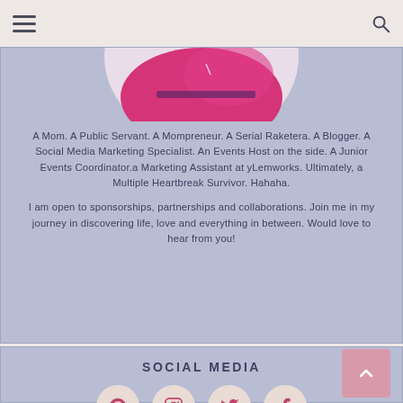Navigation bar with hamburger menu and search icon
[Figure (photo): Partial photo of a person in a bright pink/magenta outfit, cropped at the top, showing the lower portion of the image against a light blue-purple background]
A Mom. A Public Servant. A Mompreneur. A Serial Raketera. A Blogger. A Social Media Marketing Specialist. An Events Host on the side. A Junior Events Coordinator.a Marketing Assistant at yLemworks. Ultimately, a Multiple Heartbreak Survivor. Hahaha.
I am open to sponsorships, partnerships and collaborations. Join me in my journey in discovering life, love and everything in between. Would love to hear from you!
SOCIAL MEDIA
[Figure (infographic): Row of four social media icons (Pinterest, Instagram, Twitter, Facebook) displayed in circular beige/cream buttons]